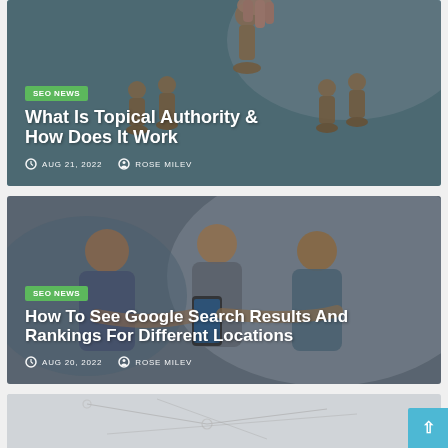[Figure (photo): Card 1: Hand picking up a wooden pawn chess piece, with several other wooden pawns in background. Teal/blue-tinted background. SEO News badge overlay with article title and metadata.]
SEO NEWS
What Is Topical Authority & How Does It Work
AUG 21, 2022   ROSE MILEV
[Figure (photo): Card 2: Three young adults looking at a smartphone together. Blue-grey tinted background. SEO News badge overlay with article title and metadata.]
SEO NEWS
How To See Google Search Results And Rankings For Different Locations
AUG 20, 2022   ROSE MILEV
[Figure (photo): Card 3 (partially visible): A light grey card partially visible at the bottom of the page, appears to show a diagram or map illustration.]